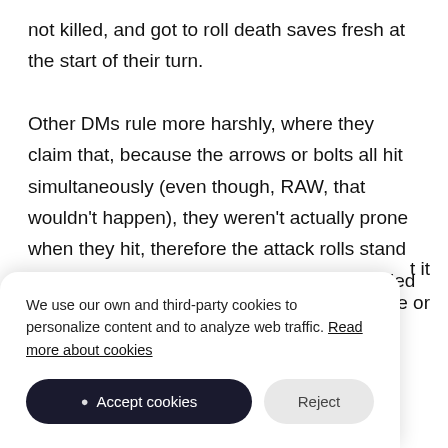not killed, and got to roll death saves fresh at the start of their turn.

Other DMs rule more harshly, where they claim that, because the arrows or bolts all hit simultaneously (even though, RAW, that wouldn't happen), they weren't actually prone when they hit, therefore the attack rolls stand and ignore the disadvantage. They also tallied up the death saves that would have happened, although I think there
t it
ne or
We use our own and third-party cookies to personalize content and to analyze web traffic. Read more about cookies